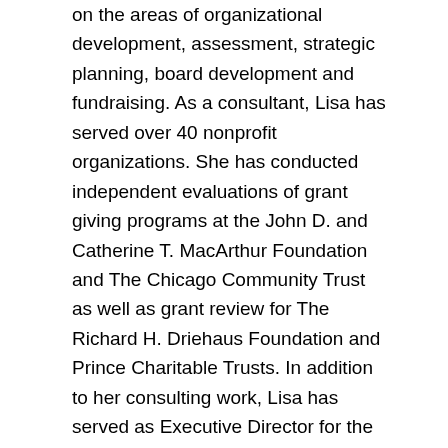on the areas of organizational development, assessment, strategic planning, board development and fundraising. As a consultant, Lisa has served over 40 nonprofit organizations. She has conducted independent evaluations of grant giving programs at the John D. and Catherine T. MacArthur Foundation and The Chicago Community Trust as well as grant review for The Richard H. Driehaus Foundation and Prince Charitable Trusts. In addition to her consulting work, Lisa has served as Executive Director for the Chicago Dance Coalition, Director of Arts DuPage for the DuPage Foundation and Chief of Staff for the UFHI Foundation. In 2018, Lisa joined Giving Tree Associates as an adjunct consultant working with their team on fundraising, planning and assessment projects. In 2011 and 2014, Ms. Tylke served as a member of the University of Chicago Graham School of Continuing Liberal and Professional Studies, Civic